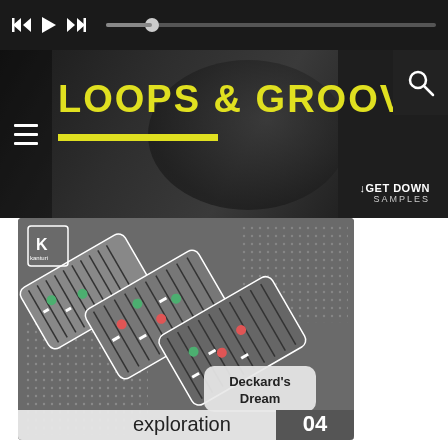[Figure (screenshot): Music player top bar with previous, play, next buttons and progress bar on dark background]
[Figure (illustration): Banner with yellow text 'LOOPS & GROOVES' on dark background with Get Down Samples logo and a guitar/equipment image]
[Figure (illustration): Album artwork for 'exploration 04 - Deckard's Dream' by Kanturi, showing stylized synthesizer/keyboard graphic on grey background]